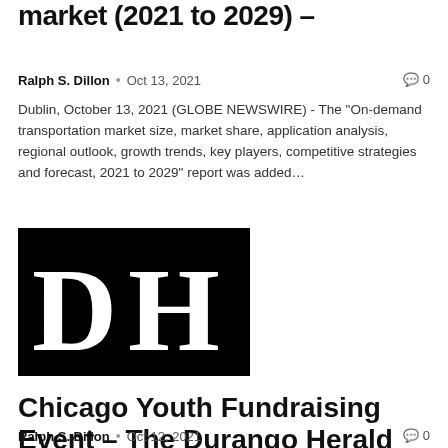market (2021 to 2029) –
Ralph S. Dillon  •  Oct 13, 2021   💬 0
Dublin, October 13, 2021 (GLOBE NEWSWIRE) - The "On-demand transportation market size, market share, application analysis, regional outlook, growth trends, key players, competitive strategies and forecast, 2021 to 2029" report was added…
[Figure (logo): DH logo — black square with white serif letters D and H, representing The Durango Herald]
Chicago Youth Fundraising Event – The Durango Herald
Ralph S. Dillon  •  Oct 12, 2021   💬 0